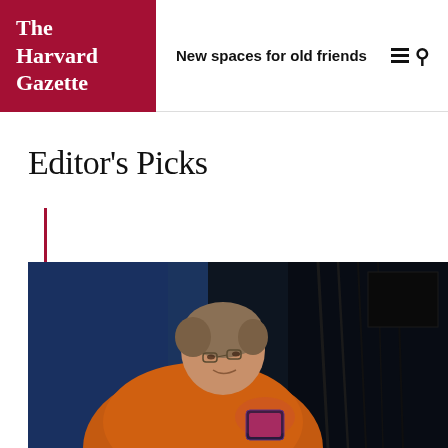The Harvard Gazette
New spaces for old friends
Editor's Picks
[Figure (photo): An older man with glasses wearing an orange top, leaning over equipment in a dark laboratory setting with cables and monitors in the background.]